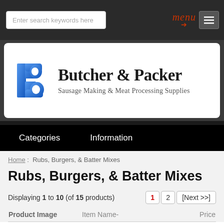Enter search keywords here  menu  [menu icon]
[Figure (logo): Butcher & Packer logo with blue stylized 'B' icon and serif text]
Butcher & Packer
Sausage Making & Meat Processing Supplies
Categories   Information
Home :  Rubs, Burgers, & Batter Mixes
Rubs, Burgers, & Batter Mixes
Displaying 1 to 10 (of 15 products)
Product Image   Item Name-   Price